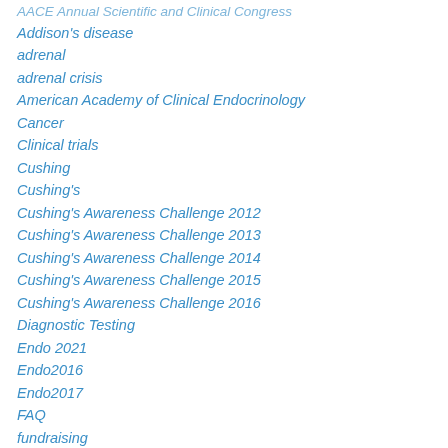AACE Annual Scientific and Clinical Congress
Addison's disease
adrenal
adrenal crisis
American Academy of Clinical Endocrinology
Cancer
Clinical trials
Cushing
Cushing's
Cushing's Awareness Challenge 2012
Cushing's Awareness Challenge 2013
Cushing's Awareness Challenge 2014
Cushing's Awareness Challenge 2015
Cushing's Awareness Challenge 2016
Diagnostic Testing
Endo 2021
Endo2016
Endo2017
FAQ
fundraising
Generalizations